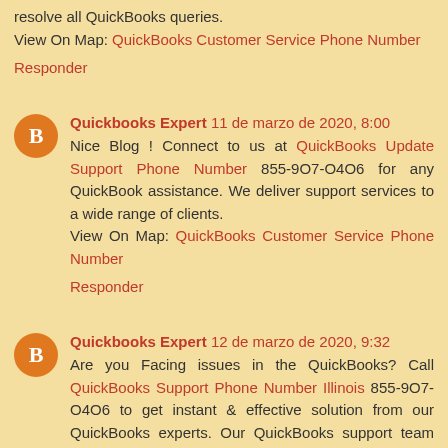resolve all QuickBooks queries.
View On Map: QuickBooks Customer Service Phone Number
Responder
Quickbooks Expert 11 de marzo de 2020, 8:00
Nice Blog ! Connect to us at QuickBooks Update Support Phone Number 855-9O7-O4O6 for any QuickBook assistance. We deliver support services to a wide range of clients.
View On Map: QuickBooks Customer Service Phone Number
Responder
Quickbooks Expert 12 de marzo de 2020, 9:32
Are you Facing issues in the QuickBooks? Call QuickBooks Support Phone Number Illinois 855-9O7-O4O6 to get instant & effective solution from our QuickBooks experts. Our QuickBooks support team available 24/7 to offer